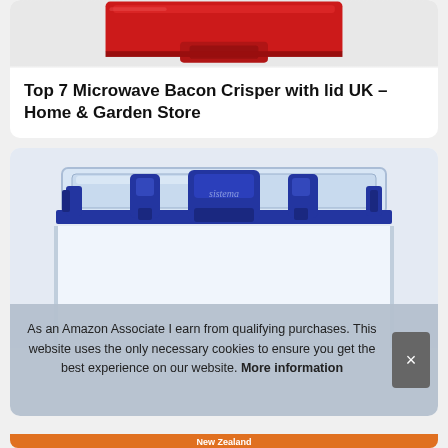[Figure (photo): Partial view of a red microwave bacon crisper lid from above, showing red plastic with a central tab, on a light background.]
Top 7 Microwave Bacon Crisper with lid UK – Home & Garden Store
[Figure (photo): Close-up of a Sistema brand clear plastic food storage container with blue clips and lid seal, showing the branded center clip labeled 'sistema'.]
As an Amazon Associate I earn from qualifying purchases. This website uses the only necessary cookies to ensure you get the best experience on our website. More information
[Figure (photo): Partially visible orange/yellow New Zealand label at the very bottom of the page.]